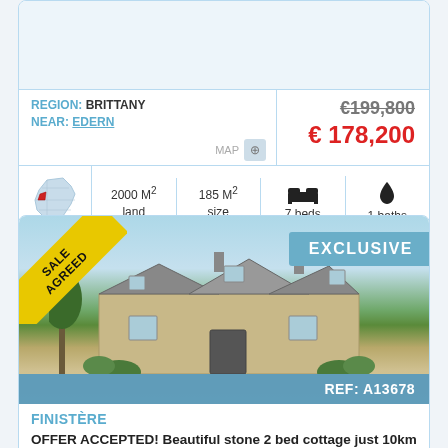REGION: BRITTANY
NEAR: EDERN
€199,800 (strikethrough)
€ 178,200
MAP
2000 M² land
185 M² size
7 beds
1 baths
SALE AGREED
EXCLUSIVE
REF: A13678
FINISTÈRE
OFFER ACCEPTED! Beautiful stone 2 bed cottage just 10km and you have several beaches to choose from.